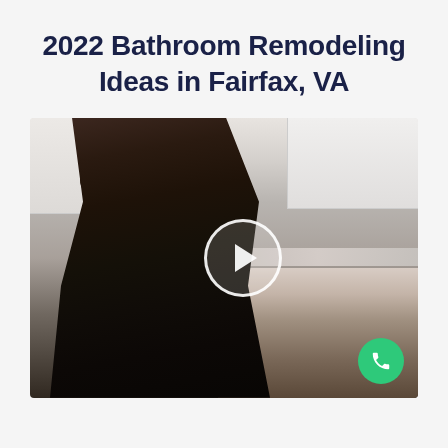2022 Bathroom Remodeling Ideas in Fairfax, VA
[Figure (photo): Video thumbnail showing a woman speaking to camera in a modern kitchen setting. A white circular play button overlay is centered on the image. A green phone call button is visible in the bottom-right corner.]